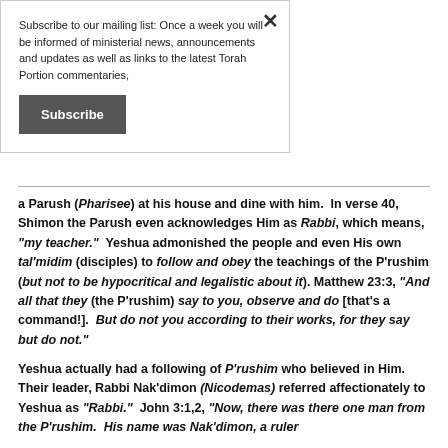Subscribe to our mailing list: Once a week you will be informed of ministerial news, announcements and updates as well as links to the latest Torah Portion commentaries,
Subscribe
a Parush (Pharisee) at his house and dine with him. In verse 40, Shimon the Parush even acknowledges Him as Rabbi, which means, "my teacher." Yeshua admonished the people and even His own tal'midim (disciples) to follow and obey the teachings of the P'rushim (but not to be hypocritical and legalistic about it). Matthew 23:3, "And all that they (the P'rushim) say to you, observe and do [that's a command!]. But do not you according to their works, for they say but do not."
Yeshua actually had a following of P'rushim who believed in Him. Their leader, Rabbi Nak'dimon (Nicodemas) referred affectionately to Yeshua as "Rabbi." John 3:1,2, "Now, there was there one man from the P'rushim. His name was Nak'dimon, a ruler